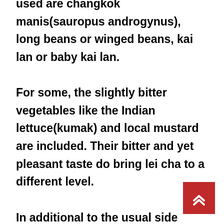used are changkok manis(sauropus androgynus), long beans or winged beans, kai lan or baby kai lan.

For some, the slightly bitter vegetables like the Indian lettuce(kumak) and local mustard are included. Their bitter and yet pleasant taste do bring lei cha to a different level.

In additional to the usual side dishes we used to cook long bean and